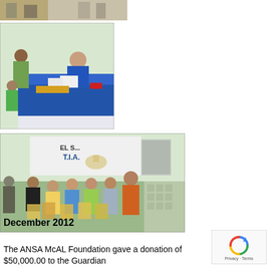[Figure (photo): Partial photo at top showing people standing, cropped at top of page]
[Figure (photo): Photo of a woman in blue shirt sitting at a blue-clothed table with papers, with other people standing nearby at an outdoor event]
[Figure (photo): Group photo of adults and children standing in front of a banner reading EL S... T.I.A., holding gift bags, at an outdoor event]
December 2012
The ANSA McAL Foundation gave a donation of $50,000.00 to the Guardian